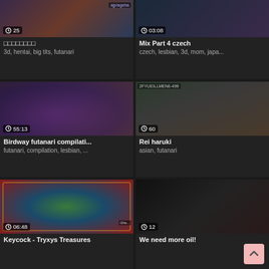[Figure (screenshot): Video thumbnail grid item 1 - anime/3d content with duration 0:25]
□□□□□□□□
3d, hentai, big tits, futanari
[Figure (screenshot): Video thumbnail grid item 2 - duration 03:08]
Mix Part 4 czech
czech, lesbian, 3d, mom, japa...
[Figure (screenshot): Video thumbnail - Birdway futanari compilation, duration 55:13]
Birdway futanari compilati...
futanari, compilation, lesbian, ...
[Figure (screenshot): Video thumbnail - Rei haruki, duration 60]
Rei haruki
asian, futanari
[Figure (screenshot): Video thumbnail - Keycock Tryxys Treasures, duration 06:48]
Keycock - Tryxys Treasures
[Figure (screenshot): Video thumbnail - We need more oil!, duration 12]
We need more oil!